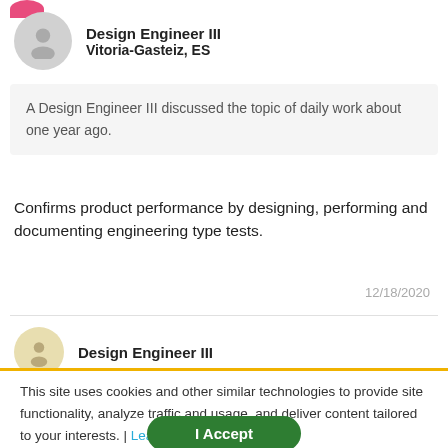[Figure (illustration): Pink partial circle at top left, user profile avatar cropped]
Design Engineer III
Vitoria-Gasteiz, ES
A Design Engineer III discussed the topic of daily work about one year ago.
Confirms product performance by designing, performing and documenting engineering type tests.
12/18/2020
[Figure (illustration): Second user profile avatar (yellowish circle) with person icon]
Design Engineer III
This site uses cookies and other similar technologies to provide site functionality, analyze traffic and usage, and deliver content tailored to your interests. | Learn More
I Accept